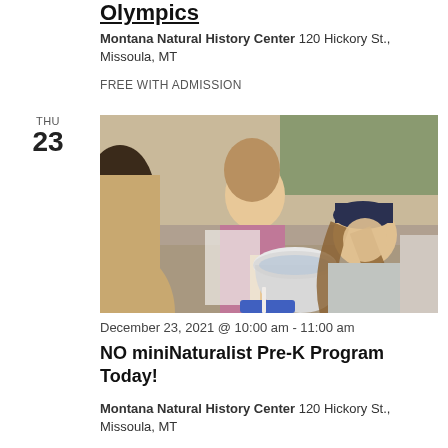Olympics
Montana Natural History Center 120 Hickory St., Missoula, MT
FREE WITH ADMISSION
THU 23
[Figure (photo): Children gathered around a white bucket/tub outdoors, appearing to do a water activity. One girl in a purple top and one in a grey jacket are visible.]
December 23, 2021 @ 10:00 am - 11:00 am
NO miniNaturalist Pre-K Program Today!
Montana Natural History Center 120 Hickory St., Missoula, MT